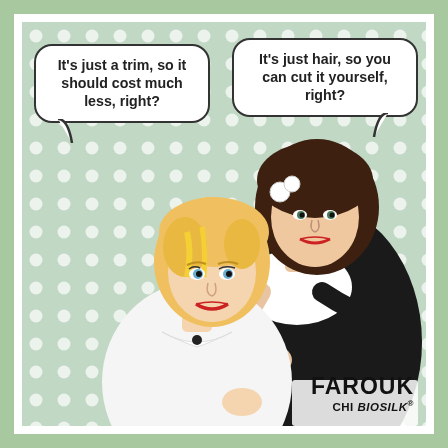[Figure (illustration): Pop art style comic illustration of a hairdresser (brunette woman in black dress holding scissors) cutting the hair of a seated blonde client. The background is a light green/mint polka dot pattern. Two speech bubbles: left bubble says 'It's just a trim, so it should cost much less, right?' and right bubble says 'It's just hair, so you can cut it yourself, right?'. Lower right corner has the FAROUK CHI BIOSILK brand logo.]